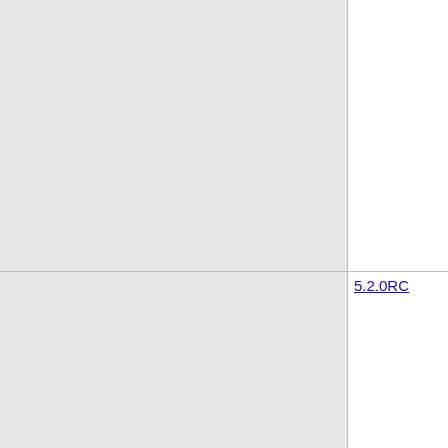| (left col) | Version | Release Notes |
| --- | --- | --- |
|  |  | - due to this unixODBC bug, feto workaround. See the examples | (https://github.com/Microsoft/ms |
|  | 5.2.0RC | [Added]
- Azure Active Directory Authenti
[Fixed]
- Fixed output parameter returni that is different from the output t
[Known Issues]
- User defined data types and SC
- When pooling is enabled in Lin
- unixODBC 2.3.1 (Linux) and ur diagnostics information, such as
- due to this unixODBC bug, feto workaround. See the examples (https://github.com/Microsoft/ms |
|  | 5.1.2preview | [Fixed]
- PDO::quote with string containi https://github.com/Microsoft/msp
- Appropriate error message is re sqlsrv_next_result() on an empty (https://github.com/Microsoft/ms
- Decimal types with no decimals (https://github.com/Microsoft/ms
- Search for installed ODBC driv using the default ODBC driver
- BIGINT as an output param no the returned value is larger than |